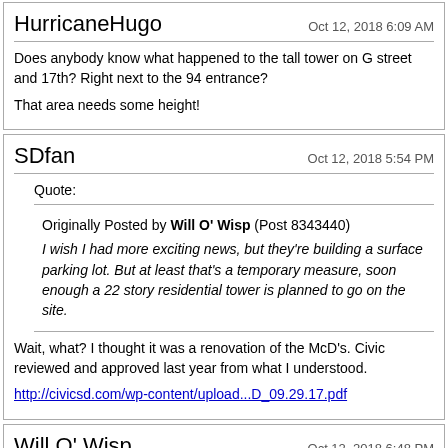HurricaneHugo
Oct 12, 2018 6:09 AM
Does anybody know what happened to the tall tower on G street and 17th? Right next to the 94 entrance?

That area needs some height!
SDfan
Oct 12, 2018 5:54 PM
Quote:
Originally Posted by Will O' Wisp (Post 8343440)
I wish I had more exciting news, but they're building a surface parking lot. But at least that's a temporary measure, soon enough a 22 story residential tower is planned to go on the site.
Wait, what? I thought it was a renovation of the McD's. Civic reviewed and approved last year from what I understood.

http://civicsd.com/wp-content/upload...D_09.29.17.pdf
Will O' Wisp
Oct 12, 2018 6:48 PM
Quote: